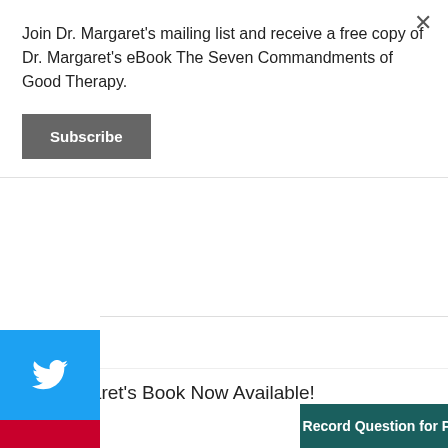Join Dr. Margaret's mailing list and receive a free copy of Dr. Margaret's eBook The Seven Commandments of Good Therapy.
[Figure (screenshot): Subscribe button (dark gray)]
[Figure (screenshot): Social sharing sidebar with Twitter (blue), Pinterest (red), and more (+) buttons]
Be the first to comment.
Subscribe  Do Not Sell My Data  DISQUS
Dr. Margaret's Book Now Available!
Record Question for Po...